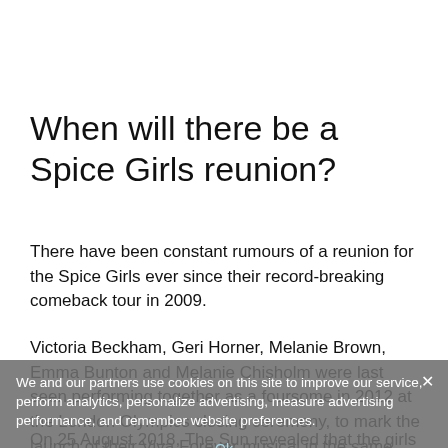When will there be a Spice Girls reunion?
There have been constant rumours of a reunion for the Spice Girls ever since their record-breaking comeback tour in 2009.
Victoria Beckham, Geri Horner, Melanie Brown, Emma Bunton and Melanie Chisholm were last seen performing together as a foursome in 2012 at the London Olympics closing ceremony, to mark the launch of their Viva Forever musical in the same year.
On 25 August 2018, The Sun revealed that the girls
We and our partners use cookies on this site to improve our service, perform analytics, personalize advertising, measure advertising performance, and remember website preferences.
Ok